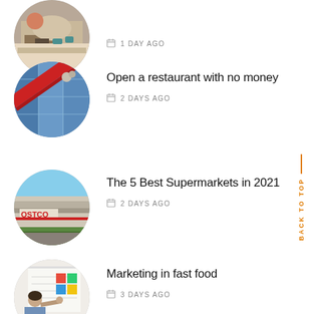[Figure (photo): Partial circular image at top showing a meeting/office scene, cropped at top]
1 DAY AGO
[Figure (photo): Circular image of a building with a red ribbon being cut, ribbon cutting ceremony]
Open a restaurant with no money
2 DAYS AGO
[Figure (photo): Circular image of a Costco store exterior]
The 5 Best Supermarkets in 2021
2 DAYS AGO
[Figure (photo): Circular image of a man writing on a whiteboard with colorful sticky notes]
Marketing in fast food
3 DAYS AGO